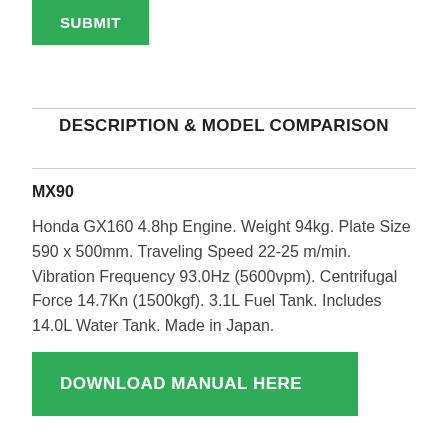SUBMIT
DESCRIPTION & MODEL COMPARISON
MX90
Honda GX160 4.8hp Engine. Weight 94kg. Plate Size 590 x 500mm. Traveling Speed 22-25 m/min. Vibration Frequency 93.0Hz (5600vpm). Centrifugal Force 14.7Kn (1500kgf). 3.1L Fuel Tank. Includes 14.0L Water Tank. Made in Japan.
DOWNLOAD MANUAL HERE